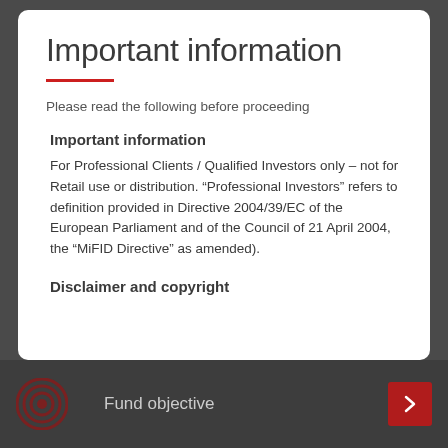Important information
Please read the following before proceeding
Important information
For Professional Clients / Qualified Investors only – not for Retail use or distribution. “Professional Investors” refers to definition provided in Directive 2004/39/EC of the European Parliament and of the Council of 21 April 2004, the “MiFID Directive” as amended).
Disclaimer and copyright
Fund objective